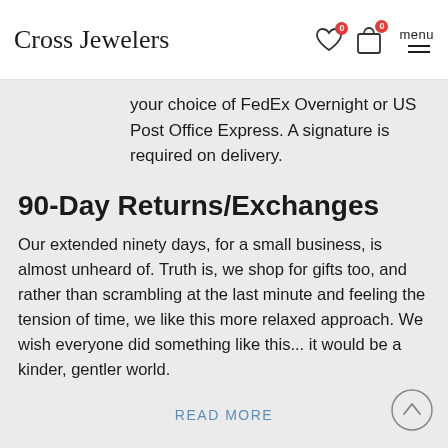Cross Jewelers
your choice of FedEx Overnight or US Post Office Express. A signature is required on delivery.
90-Day Returns/Exchanges
Our extended ninety days, for a small business, is almost unheard of. Truth is, we shop for gifts too, and rather than scrambling at the last minute and feeling the tension of time, we like this more relaxed approach. We wish everyone did something like this... it would be a kinder, gentler world.
READ MORE